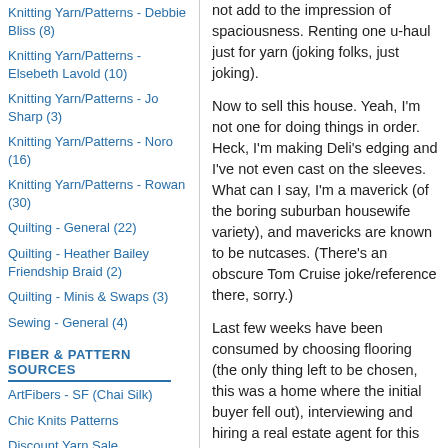Knitting Yarn/Patterns - Debbie Bliss (8)
Knitting Yarn/Patterns - Elsebeth Lavold (10)
Knitting Yarn/Patterns - Jo Sharp (3)
Knitting Yarn/Patterns - Noro (16)
Knitting Yarn/Patterns - Rowan (30)
Quilting - General (22)
Quilting - Heather Bailey Friendship Braid (2)
Quilting - Minis & Swaps (3)
Sewing - General (4)
FIBER & PATTERN SOURCES
ArtFibers - SF (Chai Silk)
Chic Knits Patterns
Discount Yarn Sale
Elann
Fibertrends Shawls & Lace Patterns
not add to the impression of spaciousness. Renting one u-haul just for yarn (joking folks, just joking).
Now to sell this house. Yeah, I'm not one for doing things in order. Heck, I'm making Deli's edging and I've not even cast on the sleeves. What can I say, I'm a maverick (of the boring suburban housewife variety), and mavericks are known to be nutcases. (There's an obscure Tom Cruise joke/reference there, sorry.)
Last few weeks have been consumed by choosing flooring (the only thing left to be chosen, this was a home where the initial buyer fell out), interviewing and hiring a real estate agent for this house, securing financing for the new house (also known as borrowing from Peter to pay Paul), organizing the contracts and all the other reams of